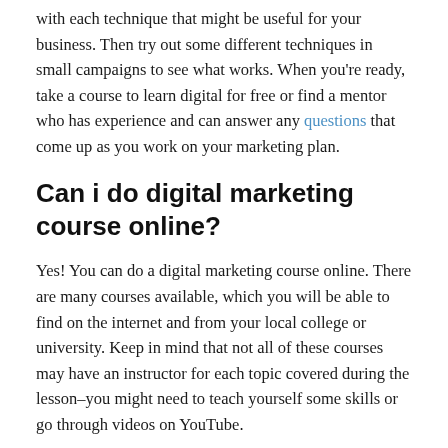with each technique that might be useful for your business. Then try out some different techniques in small campaigns to see what works. When you're ready, take a course to learn digital for free or find a mentor who has experience and can answer any questions that come up as you work on your marketing plan.
Can i do digital marketing course online?
Yes! You can do a digital marketing course online. There are many courses available, which you will be able to find on the internet and from your local college or university. Keep in mind that not all of these courses may have an instructor for each topic covered during the lesson–you might need to teach yourself some skills or go through videos on YouTube.